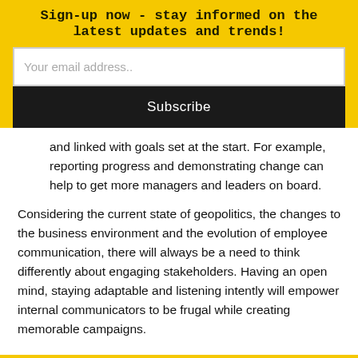Sign-up now - stay informed on the latest updates and trends!
Your email address..
Subscribe
and linked with goals set at the start. For example, reporting progress and demonstrating change can help to get more managers and leaders on board.
Considering the current state of geopolitics, the changes to the business environment and the evolution of employee communication, there will always be a need to think differently about engaging stakeholders. Having an open mind, staying adaptable and listening intently will empower internal communicators to be frugal while creating memorable campaigns.